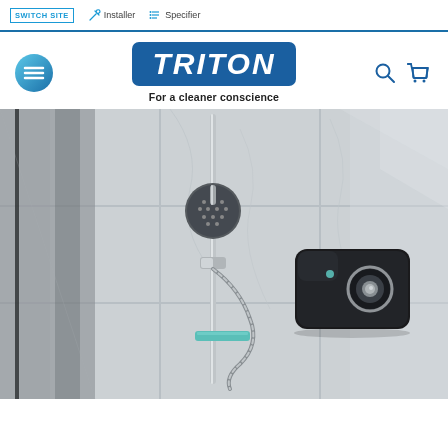SWITCH SITE   Installer   Specifier
[Figure (logo): Triton brand logo with blue rounded rectangle background and white italic bold text reading TRITON, with tagline 'For a cleaner conscience' below]
[Figure (photo): Black and white bathroom photo showing a chrome shower rail with multi-function handset, flexible hose, and a black electric shower unit mounted on marble-tiled wall with glass panel on left]